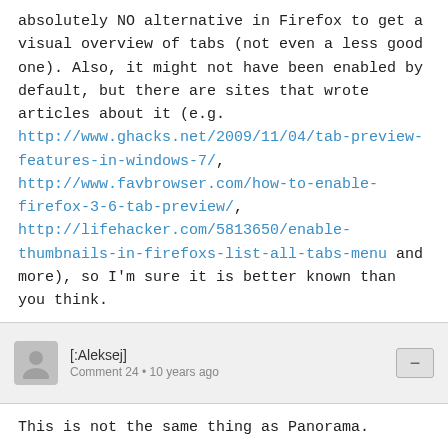absolutely NO alternative in Firefox to get a visual overview of tabs (not even a less good one). Also, it might not have been enabled by default, but there are sites that wrote articles about it (e.g. http://www.ghacks.net/2009/11/04/tab-preview-features-in-windows-7/, http://www.favbrowser.com/how-to-enable-firefox-3-6-tab-preview/, http://lifehacker.com/5813650/enable-thumbnails-in-firefoxs-list-all-tabs-menu and more), so I'm sure it is better known than you think.
[:Aleksej]
Comment 24 • 10 years ago
This is not the same thing as Panorama.
Timvde